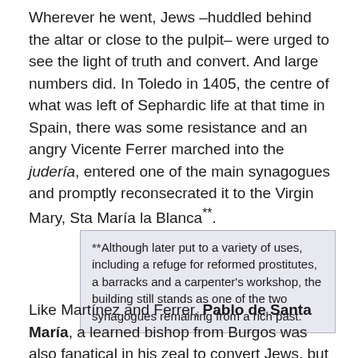Wherever he went, Jews –huddled behind the altar or close to the pulpit– were urged to see the light of truth and convert. And large numbers did. In Toledo in 1405, the centre of what was left of Sephardic life at that time in Spain, there was some resistance and an angry Vicente Ferrer marched into the judería, entered one of the main synagogues and promptly reconsecrated it to the Virgin Mary, Sta María la Blanca**.
**Although later put to a variety of uses, including a refuge for reformed prostitutes, a barracks and a carpenter's workshop, the building still stands as one of the two synagogues remaining from a rich past.
Like Martínez and Ferrer, Pablo de Santa María, a learned bishop from Burgos was also fanatical in his zeal to convert Jews, but unlike them he had a much more intimate knowledge of his enemies' culture: he was himself not only a converted Jew (a Converso) but a former chief rabbi of Burgos!